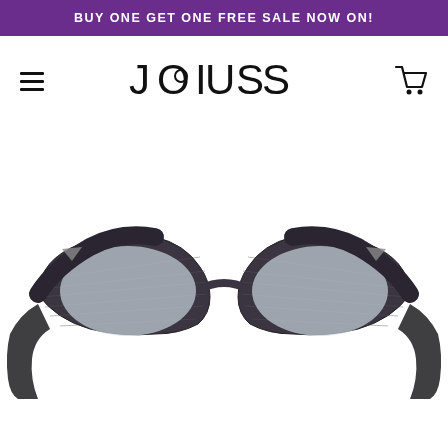BUY ONE GET ONE FREE SALE NOW ON!
[Figure (logo): JOIUSS brand logo with stylized circular O and connected J]
[Figure (photo): Cat-eye style eyeglasses frames with dark wood-grain pattern texture, shown from front against white background, partially cropped at bottom]